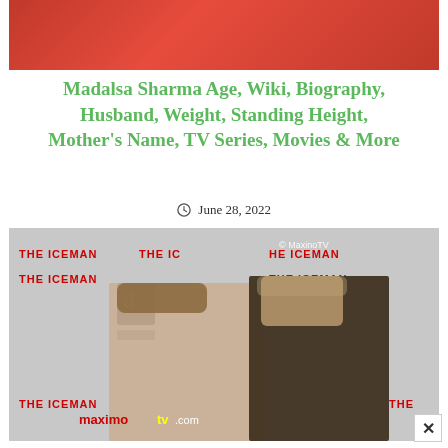[Figure (photo): Top cropped photo showing a person in red clothing against a green background]
Madalsa Sharma Age, Wiki, Biography, Husband, Weight, Standing Height, Mother's Name, TV Series, Movies & More
June 28, 2022
[Figure (photo): Photo of two people at The Iceman movie premiere event, with maximotv.com watermark. A young woman in a light dress and a man in a dark suit stand in front of a backdrop with 'THE ICEMAN' text repeated.]